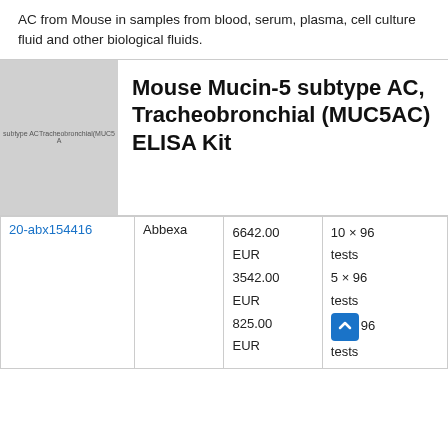AC from Mouse in samples from blood, serum, plasma, cell culture fluid and other biological fluids.
[Figure (photo): Gray placeholder image for Mouse Mucin-5 subtype AC, Tracheobronchial (MUC5AC) product with faint label text]
Mouse Mucin-5 subtype AC, Tracheobronchial (MUC5AC) ELISA Kit
|  | Supplier | Price | Size |
| --- | --- | --- | --- |
| 20-abx154416 | Abbexa | 6642.00
EUR
3542.00
EUR
825.00
EUR | 10 × 96
tests
5 × 96
tests |